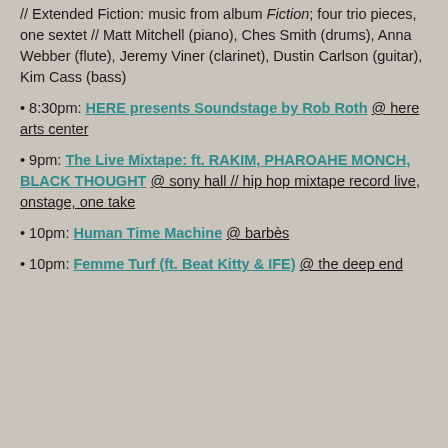// Extended Fiction: music from album Fiction; four trio pieces, one sextet // Matt Mitchell (piano), Ches Smith (drums), Anna Webber (flute), Jeremy Viner (clarinet), Dustin Carlson (guitar), Kim Cass (bass)
• 8:30pm: HERE presents Soundstage by Rob Roth @ here arts center
• 9pm: The Live Mixtape: ft. RAKIM, PHAROAHE MONCH, BLACK THOUGHT @ sony hall // hip hop mixtape record live, onstage, one take
• 10pm: Human Time Machine @ barbès
• 10pm: Femme Turf (ft. Beat Kitty & IFE) @ the deep end